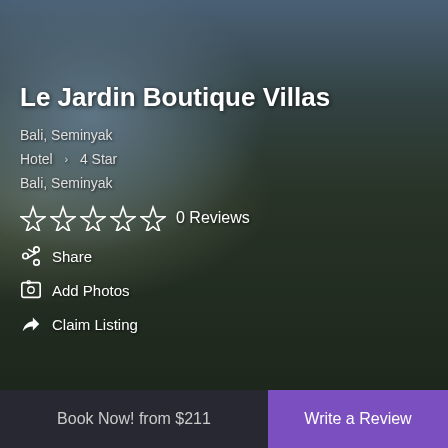[Figure (photo): Background photo of Le Jardin Boutique Villas hotel exterior with tropical greenery, split view showing architectural columns and lush garden.]
Le Jardin Boutique Villas
Bali, Seminyak
Hotel  >   4 Star
Bali, Seminyak
☆ ☆ ☆ ☆ ☆  0 Reviews
Share
Add Photos
Claim Listing
Book Now! from $211
Write a Review